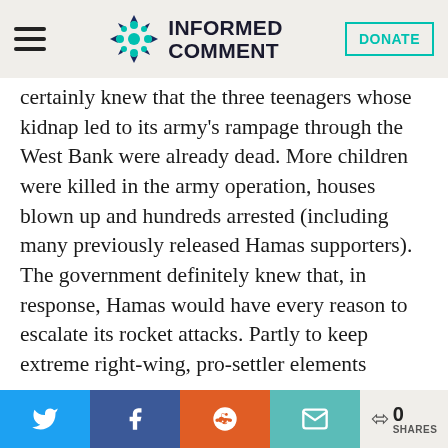Informed Comment
certainly knew that the three teenagers whose kidnap led to its army's rampage through the West Bank were already dead. More children were killed in the army operation, houses blown up and hundreds arrested (including many previously released Hamas supporters). The government definitely knew that, in response, Hamas would have every reason to escalate its rocket attacks. Partly to keep extreme right-wing, pro-settler elements
0 SHARES